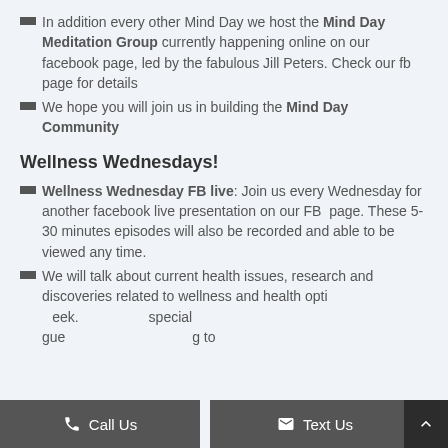In addition every other Mind Day we host the Mind Day Meditation Group currently happening online on our facebook page, led by the fabulous Jill Peters. Check our fb page for details
We hope you will join us in building the Mind Day Community
Wellness Wednesdays!
Wellness Wednesday FB live: Join us every Wednesday for another facebook live presentation on our FB page. These 5-30 minutes episodes will also be recorded and able to be viewed any time.
We will talk about current health issues, research and discoveries related to wellness and health options each week. We will feature special gue... to